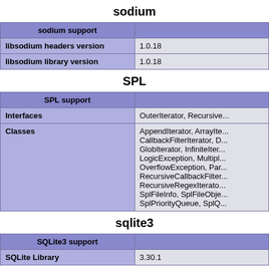sodium
| sodium support |  |
| --- | --- |
| libsodium headers version | 1.0.18 |
| libsodium library version | 1.0.18 |
SPL
| SPL support |  |
| --- | --- |
| Interfaces | OuterIterator, Recursive... |
| Classes | AppendIterator, ArrayIte...
CallbackFilterIterator, D...
GlobIterator, InfiniteIter...
LogicException, Multipl...
OverflowException, Par...
RecursiveCallbackFilter...
RecursiveRegexIterato...
SplFileInfo, SplFileObje...
SplPriorityQueue, SplQ... |
sqlite3
| SQLite3 support |  |
| --- | --- |
| SQLite Library | 3.30.1 |